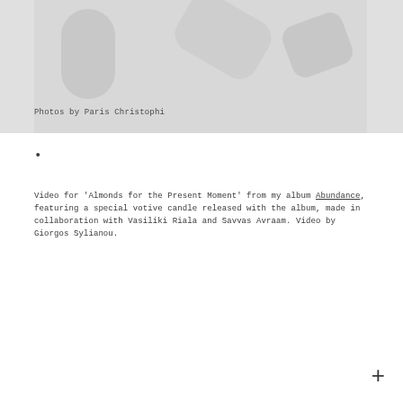[Figure (photo): Grayscale photograph with blurred/dark subject matter against a light background]
Photos by Paris Christophi
•
Video for 'Almonds for the Present Moment' from my album Abundance, featuring a special votive candle released with the album, made in collaboration with Vasiliki Riala and Savvas Avraam. Video by Giorgos Sylianou.